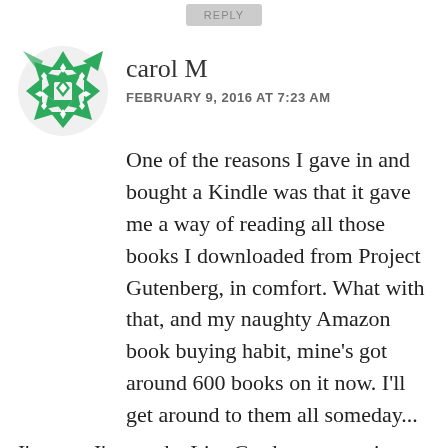REPLY
[Figure (illustration): Green geometric quilt-pattern avatar icon for user carol M]
carol M
FEBRUARY 9, 2016 AT 7:23 AM
One of the reasons I gave in and bought a Kindle was that it gave me a way of reading all those books I downloaded from Project Gutenberg, in comfort. What with that, and my naughty Amazon book buying habit, mine’s got around 600 books on it now. I’ll get around to them all someday...
I’m sure I’ve read a Lisa Gardner, some time ago… can’t remember which one. Like you, I